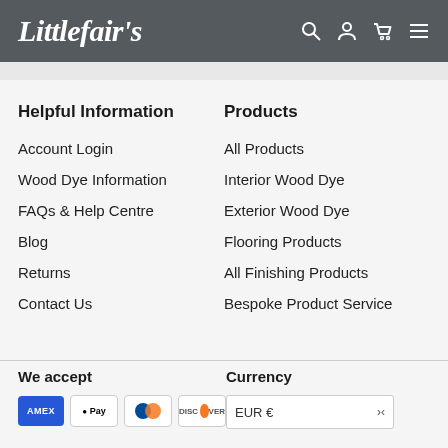Littlefair's
Helpful Information
Account Login
Wood Dye Information
FAQs & Help Centre
Blog
Returns
Contact Us
Products
All Products
Interior Wood Dye
Exterior Wood Dye
Flooring Products
All Finishing Products
Bespoke Product Service
We accept
Currency
EUR €